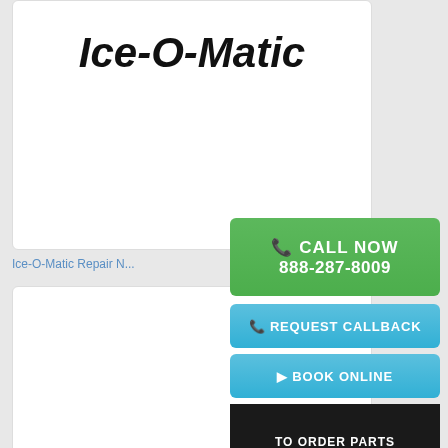[Figure (logo): Ice-O-Matic brand logo in bold italic black text]
Ice-O-Matic Repair N...
[Figure (infographic): Green CALL NOW button with phone icon and number 888-287-8009]
[Figure (infographic): Blue REQUEST CALLBACK button with phone icon]
[Figure (infographic): Blue BOOK ONLINE button with play icon]
[Figure (infographic): Black TO ORDER PARTS box with number 877-298-2785 and Same Day Shipping text]
[Figure (logo): ILVE brand logo with hexagonal i icon]
Ilve Repair New Jersey
[Figure (logo): Partial brand logo at bottom, blue stylized text beginning with I]